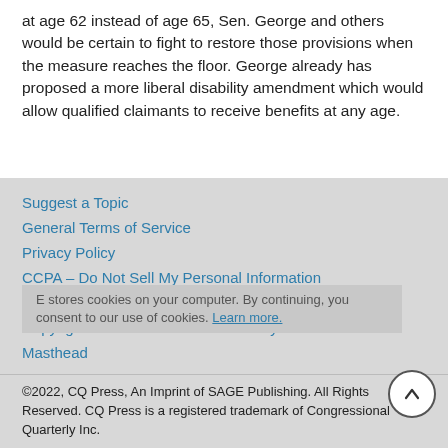at age 62 instead of age 65, Sen. George and others would be certain to fight to restore those provisions when the measure reaches the floor. George already has proposed a more liberal disability amendment which would allow qualified claimants to receive benefits at any age.
Suggest a Topic
General Terms of Service
Privacy Policy
CCPA – Do Not Sell My Personal Information
CCPA
Copyright Notice and Takedown Policy
Masthead
E stores cookies on your computer. By continuing, you consent to our use of cookies. Learn more.
©2022, CQ Press, An Imprint of SAGE Publishing. All Rights Reserved. CQ Press is a registered trademark of Congressional Quarterly Inc.